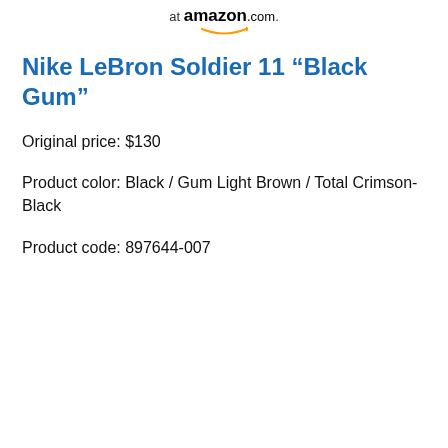at amazon.com
Nike LeBron Soldier 11 “Black Gum”
Original price: $130
Product color: Black / Gum Light Brown / Total Crimson-Black
Product code: 897644-007